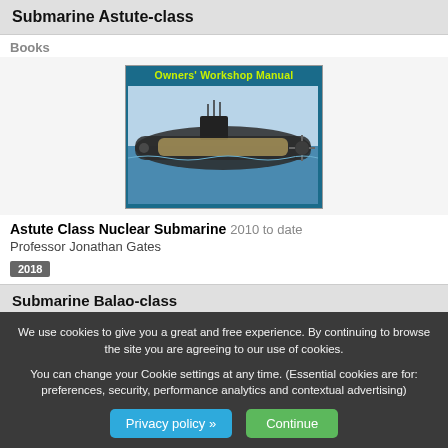Submarine Astute-class
Books
[Figure (illustration): Book cover of Owners' Workshop Manual showing a cutaway illustration of the Astute-class nuclear submarine on a teal/blue background with yellow-green title text.]
Astute Class Nuclear Submarine 2010 to date
Professor Jonathan Gates
2018
Submarine Balao-class
Books
We use cookies to give you a great and free experience. By continuing to browse the site you are agreeing to our use of cookies.

You can change your Cookie settings at any time. (Essential cookies are for: preferences, security, performance analytics and contextual advertising)